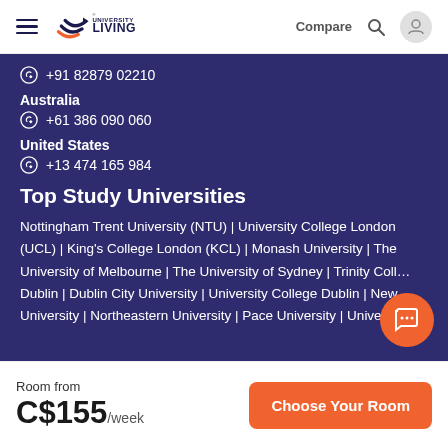University Living — Compare
+91 82879 02210
Australia
+61 386 090 060
United States
+13 474 165 984
Top Study Universities
Nottingham Trent University (NTU) | University College London (UCL) | King's College London (KCL) | Monash University | The University of Melbourne | The University of Sydney | Trinity College Dublin | Dublin City University | University College Dublin | New University | Northeastern University | Pace University | University of
Room from
C$155/week
Choose Your Room